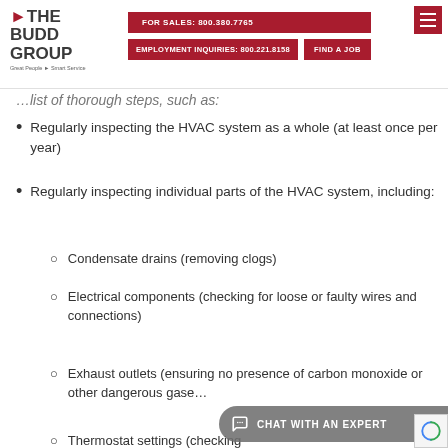[Figure (logo): The Budd Group logo with red arrow, text 'THE BUDD GROUP' and tagline 'Great People Smart Service']
FOR SALES: 800.380.7765 | EMPLOYMENT INQUIRIES: 800.221.8158 | FIND A JOB
list of thorough steps, such as:
Regularly inspecting the HVAC system as a whole (at least once per year)
Regularly inspecting individual parts of the HVAC system, including:
Condensate drains (removing clogs)
Electrical components (checking for loose or faulty wires and connections)
Exhaust outlets (ensuring no presence of carbon monoxide or other dangerous gase…
Thermostat settings (checking…